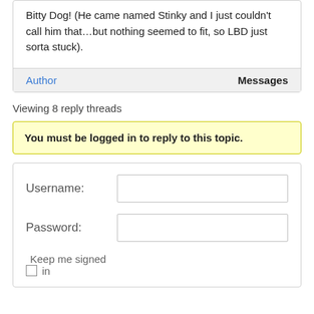Bitty Dog! (He came named Stinky and I just couldn't call him that…but nothing seemed to fit, so LBD just sorta stuck).
Author
Messages
Viewing 8 reply threads
You must be logged in to reply to this topic.
Username:
Password:
Keep me signed in